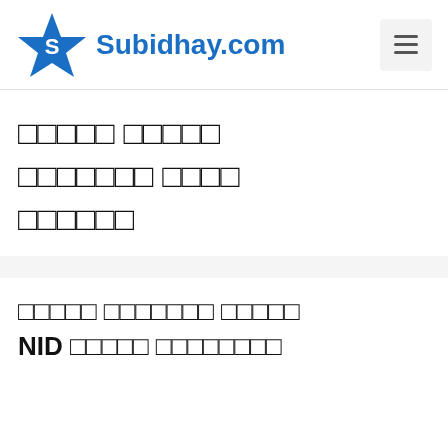[Figure (logo): Subidhay.com logo with blue star and text]
□□□□□ □□□□□ □□□□□□□ □□□□ □□□□□□
□□□□□ □□□□□□□ □□□□□ NID □□□□□ □□□□□□□□